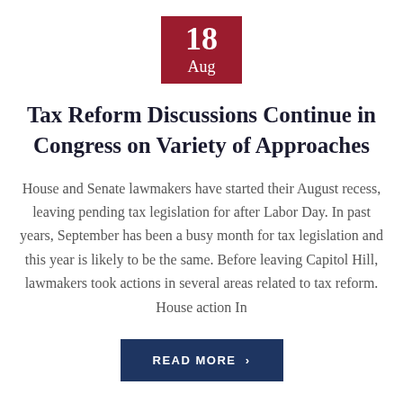[Figure (other): Dark red date badge showing '18' in large bold white text and 'Aug' below in smaller white text]
Tax Reform Discussions Continue in Congress on Variety of Approaches
House and Senate lawmakers have started their August recess, leaving pending tax legislation for after Labor Day. In past years, September has been a busy month for tax legislation and this year is likely to be the same. Before leaving Capitol Hill, lawmakers took actions in several areas related to tax reform. House action In
[Figure (other): Dark navy blue button reading 'READ MORE >']